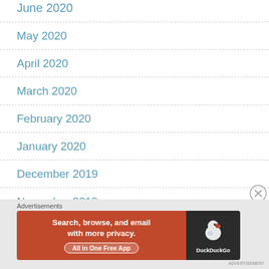June 2020
May 2020
April 2020
March 2020
February 2020
January 2020
December 2019
November 2019
October 2019
[Figure (screenshot): DuckDuckGo advertisement banner: orange left panel with text 'Search, browse, and email with more privacy. All in One Free App' and dark right panel with DuckDuckGo duck logo.]
Advertisements
ADVERTISEMENT